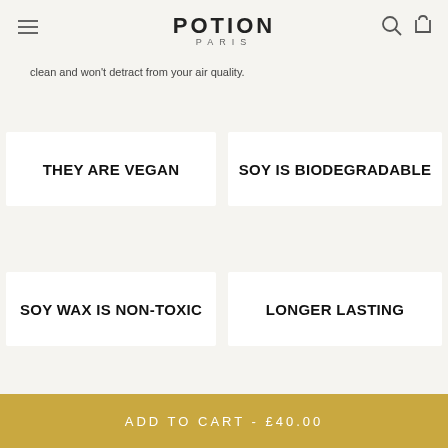POTION PARIS
clean and won't detract from your air quality.
THEY ARE VEGAN
SOY IS BIODEGRADABLE
SOY WAX IS NON-TOXIC
LONGER LASTING
ADD TO CART - £40.00